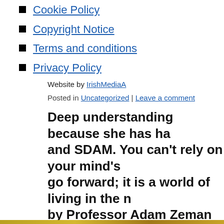Cookie Policy
Copyright Notice
Terms and conditions
Privacy Policy
Website by IrishMediaA
Posted in Uncategorized | Leave a comment
Deep understanding because she has ha and SDAM. You can't rely on your mind's go forward; it is a world of living in the n by Professor Adam Zeman in 2016. Traum bestow this on you and it is a trauma also the alternative of being able to imagine, c
Posted on July 28, 2022 by michelleclarke2015